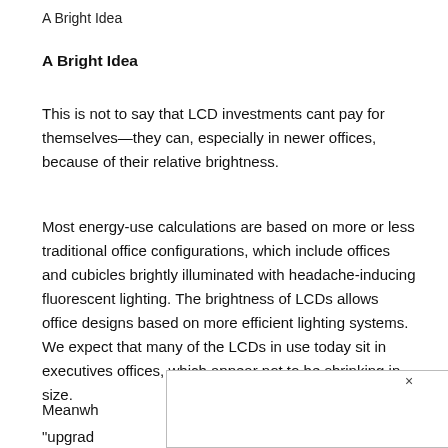A Bright Idea
A Bright Idea
This is not to say that LCD investments cant pay for themselves—they can, especially in newer offices, because of their relative brightness.
Most energy-use calculations are based on more or less traditional office configurations, which include offices and cubicles brightly illuminated with headache-inducing fluorescent lighting. The brightness of LCDs allows office designs based on more efficient lighting systems. We expect that many of the LCDs in use today sit in executives offices, which appear not to be shrinking in size.
Meanwhile [text obscured by popup] signed, "upgrad[text obscured] lts in